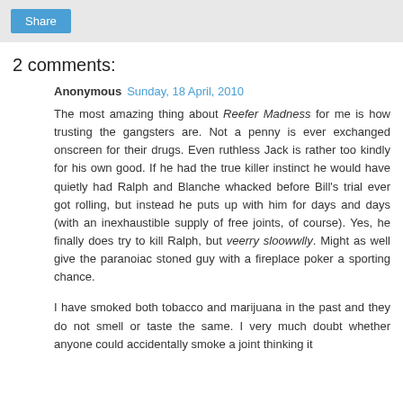[Figure (other): Share button in a grey toolbar area]
2 comments:
Anonymous  Sunday, 18 April, 2010
The most amazing thing about Reefer Madness for me is how trusting the gangsters are. Not a penny is ever exchanged onscreen for their drugs. Even ruthless Jack is rather too kindly for his own good. If he had the true killer instinct he would have quietly had Ralph and Blanche whacked before Bill's trial ever got rolling, but instead he puts up with him for days and days (with an inexhaustible supply of free joints, of course). Yes, he finally does try to kill Ralph, but veerry sloowwlly. Might as well give the paranoiac stoned guy with a fireplace poker a sporting chance.
I have smoked both tobacco and marijuana in the past and they do not smell or taste the same. I very much doubt whether anyone could accidentally smoke a joint thinking it